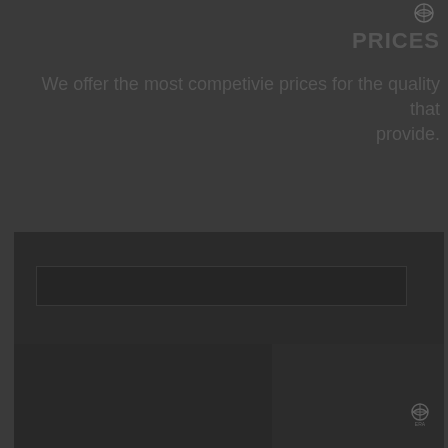[Figure (logo): Small logo icon in top right corner]
PRICES
We offer the most competivie prices for the quality that provide.
[Figure (photo): Dark photo collage showing interior/equipment images arranged in a grid layout with a small logo icon in the bottom right]